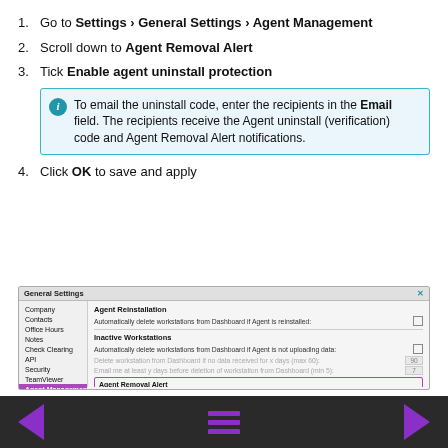1. Go to Settings > General Settings > Agent Management
2. Scroll down to Agent Removal Alert
3. Tick Enable agent uninstall protection
To email the uninstall code, enter the recipients in the Email field. The recipients receive the Agent uninstall (verification) code and Agent Removal Alert notifications.
4. Click OK to save and apply
[Figure (screenshot): General Settings dialog showing Agent Management section with Agent Reinstallation, Inactive Workstations, and Agent Removal Alert (highlighted in purple) sections.]